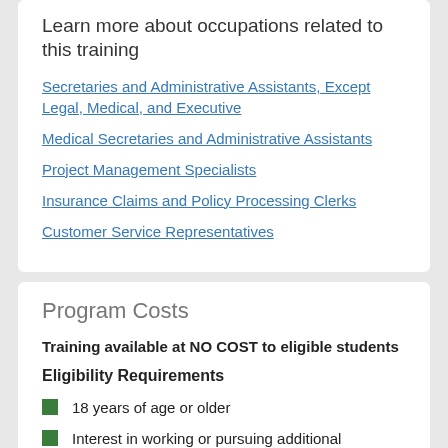Learn more about occupations related to this training
Secretaries and Administrative Assistants, Except Legal, Medical, and Executive
Medical Secretaries and Administrative Assistants
Project Management Specialists
Insurance Claims and Policy Processing Clerks
Customer Service Representatives
Program Costs
Training available at NO COST to eligible students
Eligibility Requirements
18 years of age or older
Interest in working or pursuing additional education in business or project management
HS Diploma, GED, or functional...